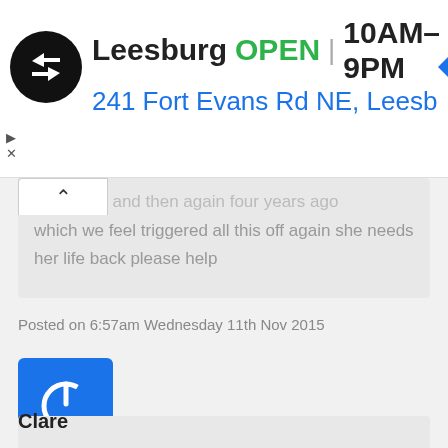[Figure (screenshot): Ad banner for Leesburg store showing logo, OPEN status, hours 10AM-9PM, address 241 Fort Evans Rd NE, Leesb, and navigation icon]
as a baby and then again four years ago which we feel triggered all this off again she needs her life back please help
Posted on 6:57am Wednesday 11th Nov 2015
[Figure (logo): Blue square avatar with white power button icon representing user Clare]
Clare